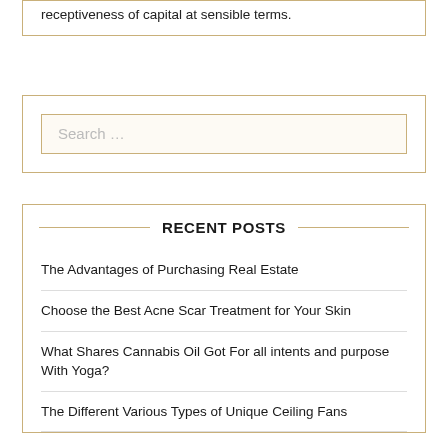receptiveness of capital at sensible terms.
Search …
RECENT POSTS
The Advantages of Purchasing Real Estate
Choose the Best Acne Scar Treatment for Your Skin
What Shares Cannabis Oil Got For all intents and purpose With Yoga?
The Different Various Types of Unique Ceiling Fans